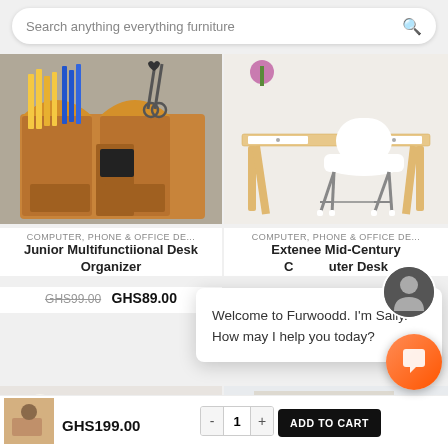[Figure (screenshot): E-commerce furniture website screenshot with search bar, product grid, chat popup, and add to cart bar]
Search anything everything furniture
COMPUTER, PHONE & OFFICE DE...
Junior Multifunctiional Desk Organizer
GHS99.00  GHS89.00
COMPUTER, PHONE & OFFICE DE...
Extenee Mid-Century Computer Desk
Welcome to Furwoodd. I'm Sally. How may I help you today?
GHS199.00
ADD TO CART